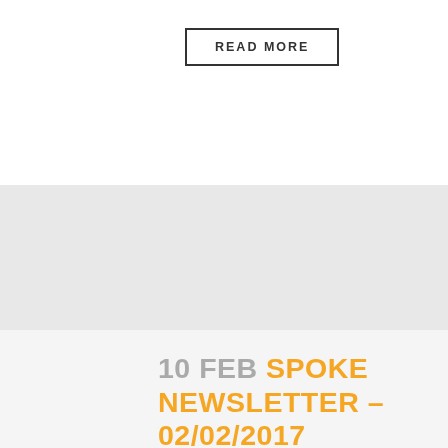READ MORE
10 FEB SPOKE NEWSLETTER – 02/02/2017
Posted at 09:36h in News, Spoke Newsletter by Redlands Rotary • 0 Comments • 0 Likes
TODAY CHIEF JEFF FRAZIER Our own JEFF FRAZIER, the hottest fireman in town, will provide us with updates and anecdotes of